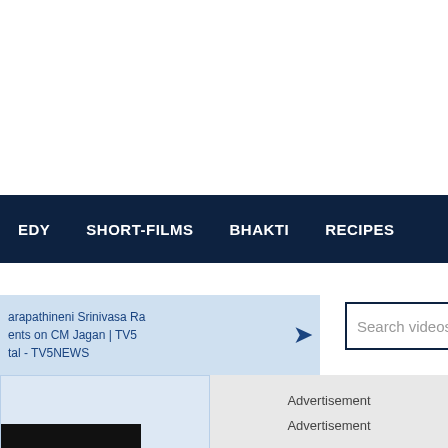EDY  SHORT-FILMS  BHAKTI  RECIPES
arapathineni Srinivasa Ra
ents on CM Jagan | TV5
tal - TV5NEWS
[Figure (screenshot): Search bar with placeholder 'Search videosamachar' and a dark blue Search button]
Advertisement
Advertisement
[Figure (screenshot): Video thumbnail showing dark/black background with partial text label at bottom left]